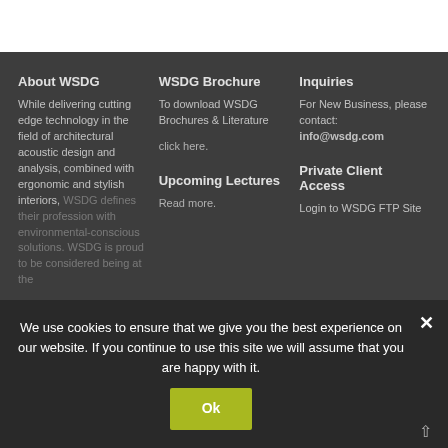About WSDG
While delivering cutting edge technology in the field of architectural acoustic design and analysis, combined with ergonomic and stylish interiors, WSDG defines their profession with environmental-conscious solutions. WSDG is proud to be considered being at the
WSDG Brochure
To download WSDG Brochures & Literature
click here.
Upcoming Lectures
Read more.
Inquiries
For New Business, please contact:
info@wsdg.com
Private Client Access
Login to WSDG FTP Site
We use cookies to ensure that we give you the best experience on our website. If you continue to use this site we will assume that you are happy with it.